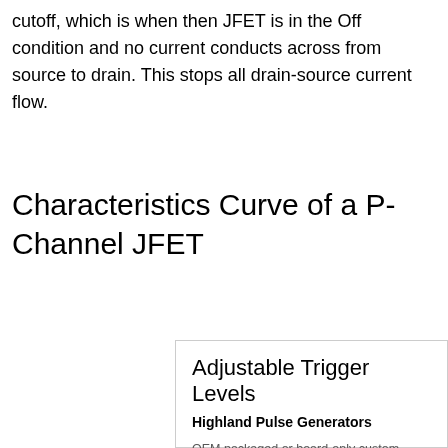cutoff, which is when then JFET is in the Off condition and no current conducts across from source to drain. This stops all drain-source current flow.
Characteristics Curve of a P-Channel JFET
[Figure (other): Advertisement box for Highland Pulse Generators featuring 'Adjustable Trigger Levels' with description of OEM packaged or board-only custom available, Designed & Manufactured in the United States. URL: highlandtechnology.com]